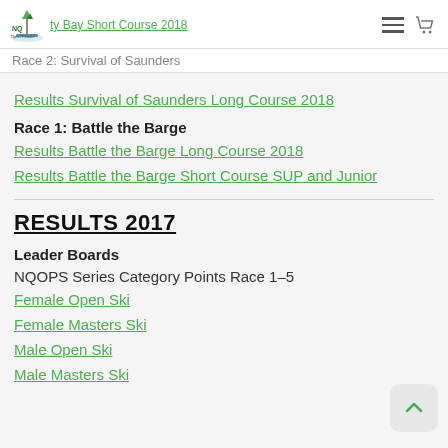NQ Open Paddle Events - Trinity Bay Short Course 2018
Race 2: Survival of Saunders
Results Survival of Saunders Long Course 2018
Race 1: Battle the Barge
Results Battle the Barge Long Course 2018
Results Battle the Barge Short Course SUP and Junior
RESULTS 2017
Leader Boards
NQOPS Series Category Points Race 1–5
Female Open Ski
Female Masters Ski
Male Open Ski
Male Masters Ski